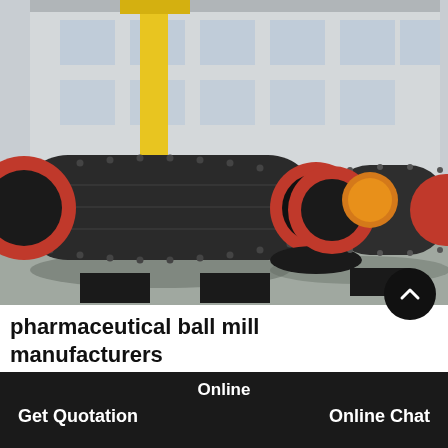[Figure (photo): Industrial ball mill machines in a factory/warehouse setting. Two large cylindrical grinding mills with black steel bodies, red circular end rings, and geared drive mechanisms are shown on the factory floor. A yellow crane structure is visible in the background against a large building with windows.]
pharmaceutical ball mill manufacturers
DOVE Ball Mills are supplied in a wide variety
Online
Get Quotation
Online Chat